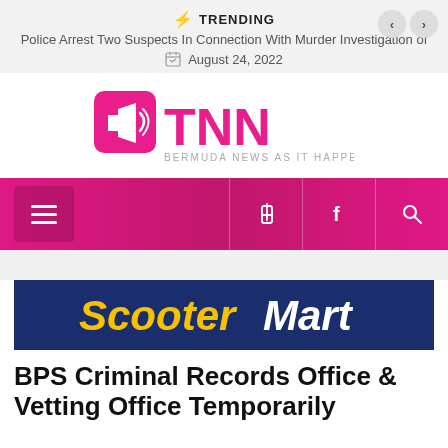TRENDING — Police Arrest Two Suspects In Connection With Murder Investigation of
August 24, 2022
[Figure (logo): TNN logo — megaphone icon with TNN text and tagline BERMUDA NEWS AS IT HAPPENS in pink]
[Figure (other): Navigation bar with hamburger menu on left, Facebook icon and search icon on right, pink/magenta gradient background]
[Figure (other): ScooterMart advertisement banner — dark navy blue background with ScooterMart text in yellow and white italic bold font]
BPS Criminal Records Office & Vetting Office Temporarily